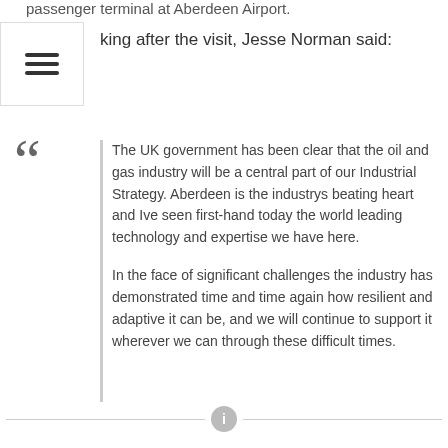passenger terminal at Aberdeen Airport.
king after the visit, Jesse Norman said:
The UK government has been clear that the oil and gas industry will be a central part of our Industrial Strategy. Aberdeen is the industrys beating heart and Ive seen first-hand today the world leading technology and expertise we have here.

In the face of significant challenges the industry has demonstrated time and time again how resilient and adaptive it can be, and we will continue to support it wherever we can through these difficult times.
View the original news story
[Figure (infographic): Social media share bar with icons: Facebook, Twitter, Email/Share, Pinterest, WhatsApp, Print, Gmail, More. Also a scroll-to-top button on the right.]